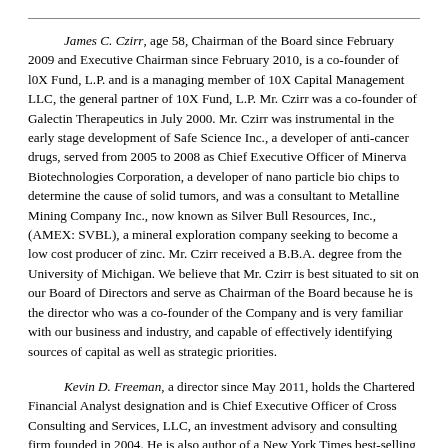James C. Czirr, age 58, Chairman of the Board since February 2009 and Executive Chairman since February 2010, is a co-founder of l0X Fund, L.P. and is a managing member of 10X Capital Management LLC, the general partner of 10X Fund, L.P. Mr. Czirr was a co-founder of Galectin Therapeutics in July 2000. Mr. Czirr was instrumental in the early stage development of Safe Science Inc., a developer of anti-cancer drugs, served from 2005 to 2008 as Chief Executive Officer of Minerva Biotechnologies Corporation, a developer of nano particle bio chips to determine the cause of solid tumors, and was a consultant to Metalline Mining Company Inc., now known as Silver Bull Resources, Inc., (AMEX: SVBL), a mineral exploration company seeking to become a low cost producer of zinc. Mr. Czirr received a B.B.A. degree from the University of Michigan. We believe that Mr. Czirr is best situated to sit on our Board of Directors and serve as Chairman of the Board because he is the director who was a co-founder of the Company and is very familiar with our business and industry, and capable of effectively identifying sources of capital as well as strategic priorities.
Kevin D. Freeman, a director since May 2011, holds the Chartered Financial Analyst designation and is Chief Executive Officer of Cross Consulting and Services, LLC, an investment advisory and consulting firm founded in 2004. He is also author of a New York Times best-selling book about the stock market and economy. Formerly he was Chairman of Separate Account Solutions, Inc. and held several offices at Franklin Templeton Investment Services from 1991 to 2000. He holds a B.S. in business administration from University of Tulsa, Tulsa, Oklahoma. We believe Mr. Freeman's qualifications to sit on our Board of